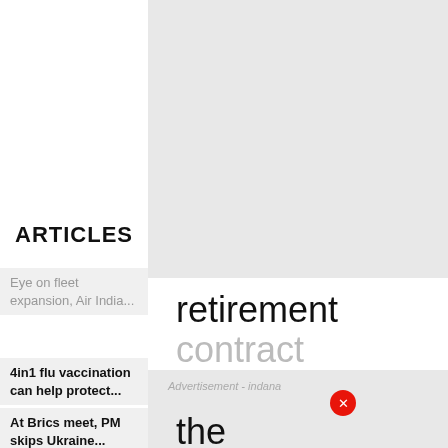ARTICLES
Eye on fleet expansion, Air India...
4in1 flu vaccination can help protect...
At Brics meet, PM skips Ukraine...
[Figure (other): Gray background image area (top right)]
retirement
contract
[Figure (other): Advertisement area with red close button dot and text 'Advertisement - indana']
the